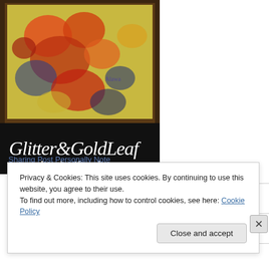[Figure (illustration): Colorful abstract painting in a dark ornate frame with 'Glitter&GoldLeaf' script text and 'www.alanajustfauxfun.com' shown on a black banner at the bottom.]
Privacy & Cookies: This site uses cookies. By continuing to use this website, you agree to their use.
To find out more, including how to control cookies, see here: Cookie Policy
Close and accept